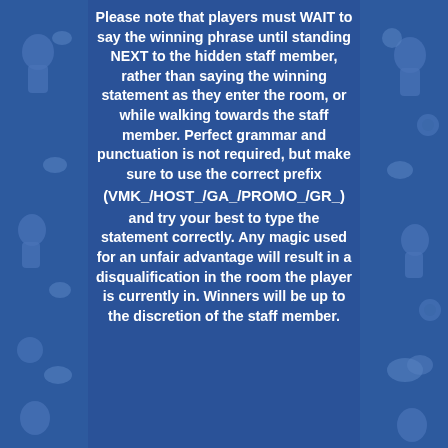[Figure (illustration): Blue background with lighter blue silhouette characters and shapes on left and right sides, with a darker blue center panel containing white bold text]
Please note that players must WAIT to say the winning phrase until standing NEXT to the hidden staff member, rather than saying the winning statement as they enter the room, or while walking towards the staff member. Perfect grammar and punctuation is not required, but make sure to use the correct prefix (VMK_/HOST_/GA_/PROMO_/GR_) and try your best to type the statement correctly. Any magic used for an unfair advantage will result in a disqualification in the room the player is currently in. Winners will be up to the discretion of the staff member.